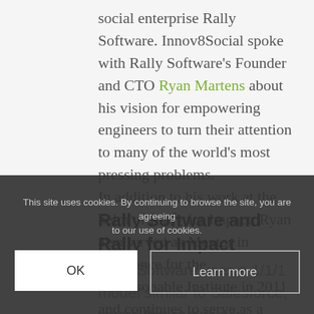social enterprise Rally Software. Innov8Social spoke with Rally Software's Founder and CTO Ryan Martens about his vision for empowering engineers to turn their attention to many of the world's most pressing problems. In addition to his work at the helm of Rally for Impact, Ryan also served as Mentor in Residence for the Unreasonable Institute in 2011 and continues to serve as a Mentor.
Rally Software and Rally for Impact
Rally Software uses a 1/1/1 model similar to Salesforce, where the company's founding equity is put toward
This site uses cookies. By continuing to browse the site, you are agreeing to our use of cookies.